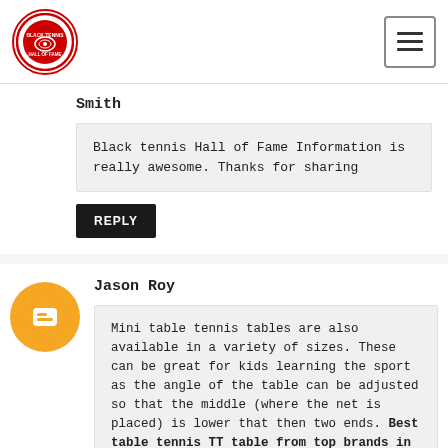Black Tennis Hall of Fame — navigation header with logo and menu button
Smith
Black tennis Hall of Fame Information is really awesome. Thanks for sharing
REPLY
Jason Roy
Mini table tennis tables are also available in a variety of sizes. These can be great for kids learning the sport as the angle of the table can be adjusted so that the middle (where the net is placed) is lower that then two ends. Best table tennis TT table from top brands in India